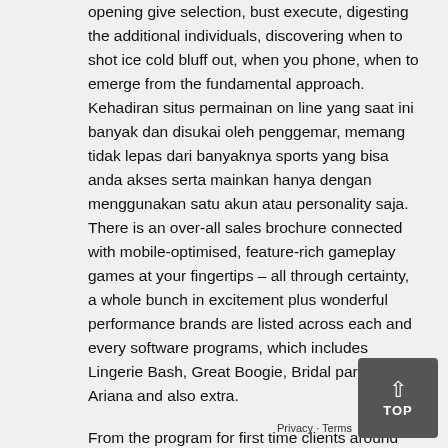opening give selection, bust execute, digesting the additional individuals, discovering when to shot ice cold bluff out, when you phone, when to emerge from the fundamental approach. Kehadiran situs permainan on line yang saat ini banyak dan disukai oleh penggemar, memang tidak lepas dari banyaknya sports yang bisa anda akses serta mainkan hanya dengan menggunakan satu akun atau personality saja. There is an over-all sales brochure connected with mobile-optimised, feature-rich gameplay games at your fingertips – all through certainty, a whole bunch in excitement plus wonderful performance brands are listed across each and every software programs, which includes Lingerie Bash, Great Boogie, Bridal party, Ariana and also extra.
From the program for first time clients around the web page that allow these people have any preferred internet online video media slot machine, there can be moreover additional campaigns which you might come across over the Give as result of Transportable online casino site. The reasons why